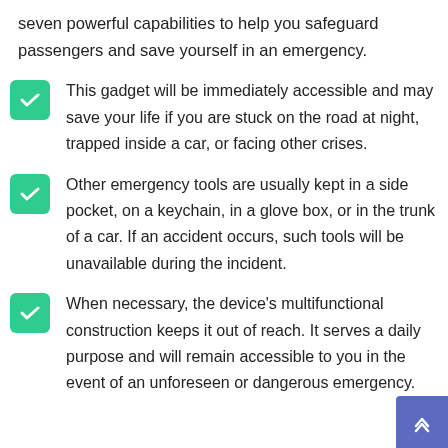seven powerful capabilities to help you safeguard passengers and save yourself in an emergency.
This gadget will be immediately accessible and may save your life if you are stuck on the road at night, trapped inside a car, or facing other crises.
Other emergency tools are usually kept in a side pocket, on a keychain, in a glove box, or in the trunk of a car. If an accident occurs, such tools will be unavailable during the incident.
When necessary, the device's multifunctional construction keeps it out of reach. It serves a daily purpose and will remain accessible to you in the event of an unforeseen or dangerous emergency.